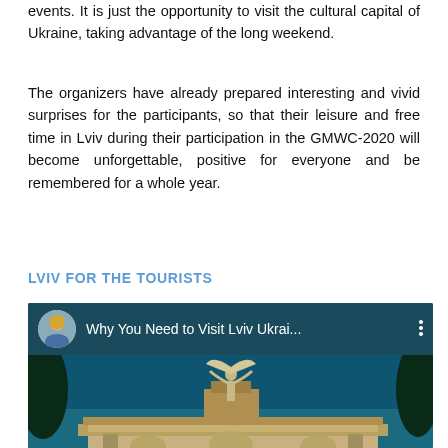events. It is just the opportunity to visit the cultural capital of Ukraine, taking advantage of the long weekend.
The organizers have already prepared interesting and vivid surprises for the participants, so that their leisure and free time in Lviv during their participation in the GMWC-2020 will become unforgettable, positive for everyone and be remembered for a whole year.
LVIV FOR THE TOURISTS
[Figure (screenshot): Embedded YouTube video thumbnail showing 'Why You Need to Visit Lviv Ukrai...' with a blonde woman avatar, dark teal background, and a statue/monument on a building rooftop.]